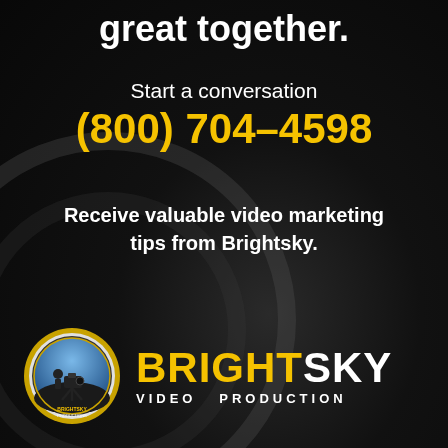great together.
Start a conversation
(800) 704-4598
Receive valuable video marketing tips from Brightsky.
[Figure (logo): Brightsky Video Production logo: circular badge with camera operator silhouette against a blue sky, gold border ring, company name in text below. Text reads BRIGHT (yellow) SKY (white) VIDEO PRODUCTION (white, spaced).]